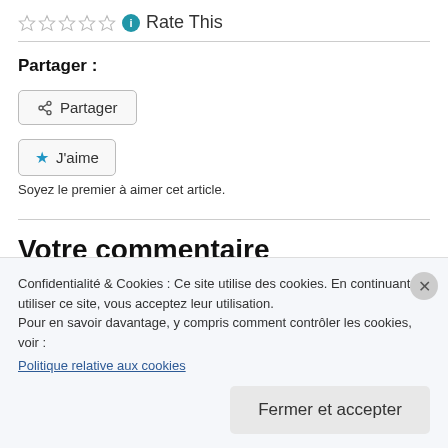[Figure (infographic): Five empty star rating icons followed by a blue info circle icon]
Rate This
Partager :
[Figure (infographic): Share button with share icon and text Partager]
[Figure (infographic): J'aime button with blue star icon]
Soyez le premier à aimer cet article.
Votre commentaire
Confidentialité & Cookies : Ce site utilise des cookies. En continuant à utiliser ce site, vous acceptez leur utilisation. Pour en savoir davantage, y compris comment contrôler les cookies, voir :
Politique relative aux cookies
Fermer et accepter